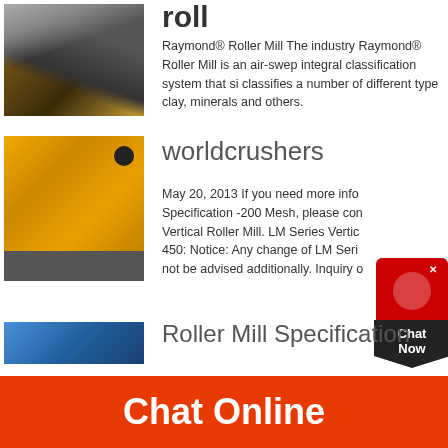roll
[Figure (photo): Industrial machine/conveyor equipment outdoors]
Raymond® Roller Mill The industry Raymond® Roller Mill is an air-swept integral classification system that si classifies a number of different type clay, minerals and others.
[Figure (photo): Yellow industrial crusher/impact mill equipment in factory]
worldcrushers
[Figure (screenshot): Chat Now widget with red circle icon and dark pentagon box]
May 20, 2013 If you need more info Specification -200 Mesh, please con Vertical Roller Mill. LM Series Vertic 450: Notice: Any change of LM Seri not be advised additionally. Inquiry o
[Figure (photo): Partial image of roller mill equipment with blue background]
Roller Mill Specification
Chat Online